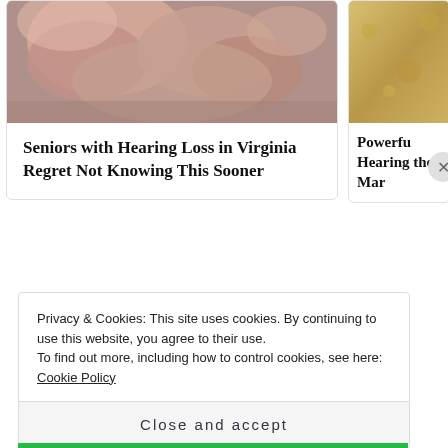[Figure (photo): Close-up photo of human fingers/hands with skin texture, pinkish tone]
Seniors with Hearing Loss in Virginia Regret Not Knowing This Sooner
[Figure (photo): Partial photo of a textured sandy/beige surface, partially cropped]
Powerfu Hearing the Mar
• • •
SHARE THIS:
[Figure (other): Facebook share button - blue circle with Facebook logo]
[Figure (other): Twitter share button - blue circle with Twitter bird logo]
Privacy & Cookies: This site uses cookies. By continuing to use this website, you agree to their use.
To find out more, including how to control cookies, see here:
Cookie Policy
Close and accept